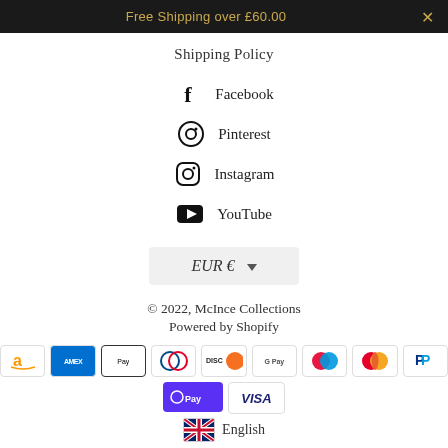Free Shipping over £60.00
Shipping Policy
Facebook
Pinterest
Instagram
YouTube
EUR €
© 2022, McInce Collections
Powered by Shopify
[Figure (other): Payment method logos: Amazon Pay, American Express, Apple Pay, Diners Club, Discover, Google Pay, Maestro, Mastercard, PayPal, Shop Pay, Visa]
English